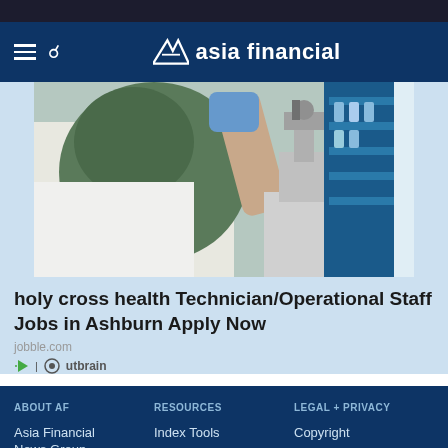asia financial
[Figure (photo): A person wearing a hijab and blue gloves working with a microscope in a laboratory, with blue storage shelves in the background]
holy cross health Technician/Operational Staff Jobs in Ashburn Apply Now
jobble.com
Outbrain
ABOUT AF | RESOURCES | LEGAL + PRIVACY | Asia Financial News Group | Index Tools | Copyright | Asia Financial Index Group | Newsletters | Legal & Privacy | Your AF | Terms &